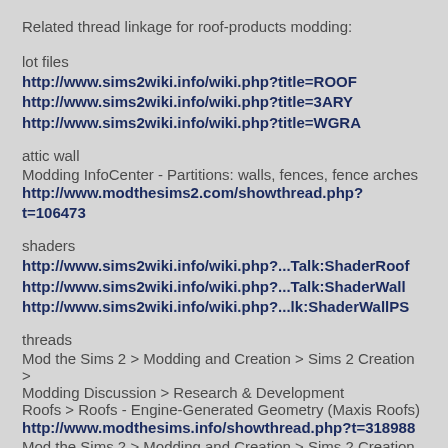Related thread linkage for roof-products modding:
lot files
http://www.sims2wiki.info/wiki.php?title=ROOF
http://www.sims2wiki.info/wiki.php?title=3ARY
http://www.sims2wiki.info/wiki.php?title=WGRA
attic wall
Modding InfoCenter - Partitions: walls, fences, fence arches
http://www.modthesims2.com/showthread.php?t=106473
shaders
http://www.sims2wiki.info/wiki.php?...Talk:ShaderRoof
http://www.sims2wiki.info/wiki.php?...Talk:ShaderWall
http://www.sims2wiki.info/wiki.php?...lk:ShaderWallPS
threads
Mod the Sims 2 > Modding and Creation > Sims 2 Creation > Modding Discussion > Research & Development
Roofs > Roofs - Engine-Generated Geometry (Maxis Roofs)
http://www.modthesims.info/showthread.php?t=318988
Mod the Sims 2 > Modding and Creation > Sims 2 Creation >